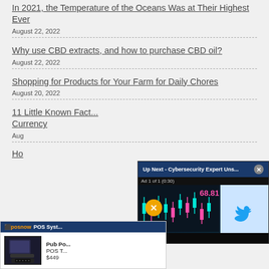In 2021, the Temperature of the Oceans Was at Their Highest Ever
August 22, 2022
Why use CBD extracts, and how to purchase CBD oil?
August 22, 2022
Shopping for Products for Your Farm for Daily Chores
August 20, 2022
11 Little Known Facts... Currency
Aug...
Ho...
[Figure (screenshot): Video ad popup: 'Up Next - Cybersecurity Expert Uns...' with close button X, 'Ad 1 of 1 (0:30)' label, financial chart video with pink/cyan candlesticks, price tag 68.81, mute button, Twitter logo on right side]
[Figure (screenshot): POS System ad: posnow logo, 'POS Syst...' header, image of POS terminal hardware, 'Pub Po... POS T...' text, '$449' price]